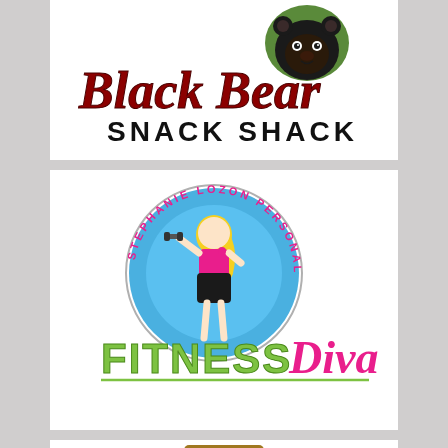[Figure (logo): Black Bear Snack Shack logo: cartoon black bear head above cursive red 'Black Bear' text with bold black 'SNACK SHACK' below]
[Figure (logo): Stephanie Lozon Personal Training Fitness Diva logo: circular badge with cartoon blonde woman lifting dumbbells, text 'STEPHANIE LOZON PERSONAL TRAINING' around circle, 'FITNESS' in green and 'Diva' in pink script below]
[Figure (logo): Partially visible cartoon character logo at the bottom of the page, showing what appears to be an animal character wearing a hat]